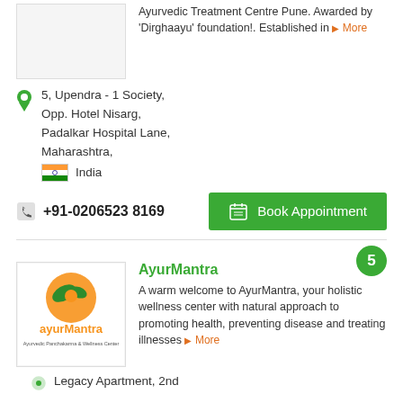Ayurvedic Treatment Centre Pune. Awarded by 'Dirghaayu' foundation!. Established in ▶ More
5, Upendra - 1 Society, Opp. Hotel Nisarg, Padalkar Hospital Lane, Maharashtra, India
+91-0206523 8169
Book Appointment
5
[Figure (logo): AyurMantra logo - Ayurvedic Panchakarma & Wellness Center]
AyurMantra
A warm welcome to AyurMantra, your holistic wellness center with natural approach to promoting health, preventing disease and treating illnesses ▶ More
Legacy Apartment, 2nd